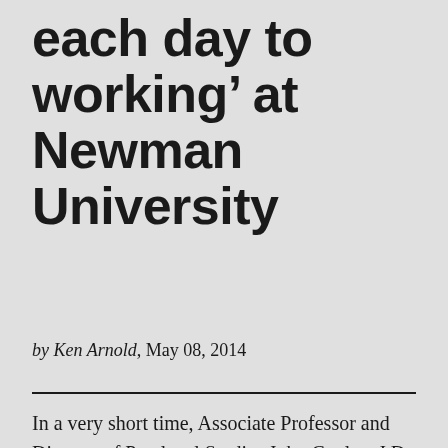each day to working' at Newman University
by Ken Arnold, May 08, 2014
In a very short time, Associate Professor and Director of Paralegal Studies John Conlee, J.D.